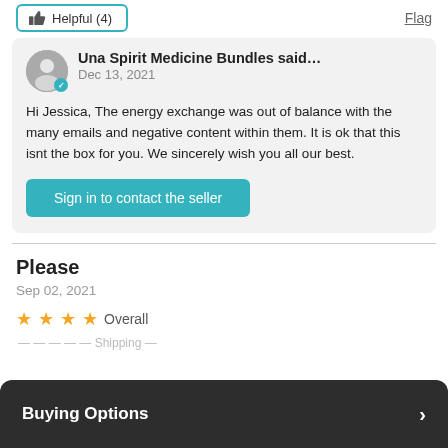Helpful (4)
Flag
Una Spirit Medicine Bundles said…
Dec 13, 2021
Hi Jessica, The energy exchange was out of balance with the many emails and negative content within them. It is ok that this isnt the box for you. We sincerely wish you all our best.
Sign in to contact the seller
Please
Sep 02, 2021
★★★★  Overall
Buying Options